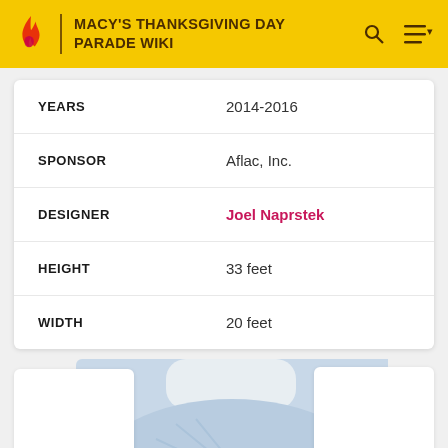MACY'S THANKSGIVING DAY PARADE WIKI
| Field | Value |
| --- | --- |
| YEARS | 2014-2016 |
| SPONSOR | Aflac, Inc. |
| DESIGNER | Joel Naprstek |
| HEIGHT | 33 feet |
| WIDTH | 20 feet |
[Figure (photo): A large balloon float showing an Aflac duck character wearing a blue outfit with a pink heart on its chest, photographed during the Macy's Thanksgiving Day Parade. Bare trees visible in the background.]